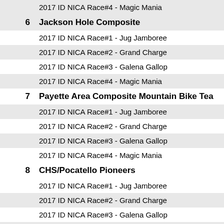| # | Team / Race |
| --- | --- |
|  | 2017 ID NICA Race#4 - Magic Mania |
| 6 | Jackson Hole Composite |
|  | 2017 ID NICA Race#1 - Jug Jamboree |
|  | 2017 ID NICA Race#2 - Grand Charge |
|  | 2017 ID NICA Race#3 - Galena Gallop |
|  | 2017 ID NICA Race#4 - Magic Mania |
| 7 | Payette Area Composite Mountain Bike Tea |
|  | 2017 ID NICA Race#1 - Jug Jamboree |
|  | 2017 ID NICA Race#2 - Grand Charge |
|  | 2017 ID NICA Race#3 - Galena Gallop |
|  | 2017 ID NICA Race#4 - Magic Mania |
| 8 | CHS/Pocatello Pioneers |
|  | 2017 ID NICA Race#1 - Jug Jamboree |
|  | 2017 ID NICA Race#2 - Grand Charge |
|  | 2017 ID NICA Race#3 - Galena Gallop |
|  | 2017 ID NICA Race#4 - Magic Mania |
| 9 | Idaho Falls Composite - North |